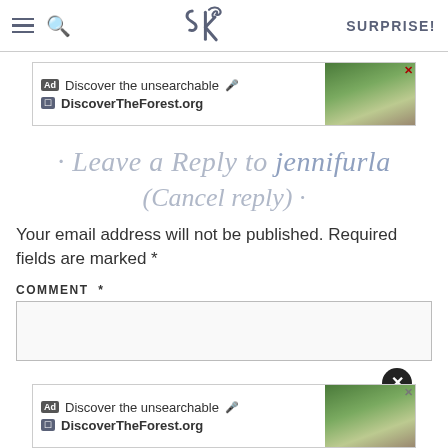SK | SURPRISE!
[Figure (screenshot): Advertisement banner: 'Discover the unsearchable / DiscoverTheForest.org' with hikers in forest]
· Leave a Reply to jennifurla (Cancel reply) ·
Your email address will not be published. Required fields are marked *
COMMENT *
[Figure (screenshot): Advertisement banner at bottom: 'Discover the unsearchable / DiscoverTheForest.org' with hikers in forest and close button]